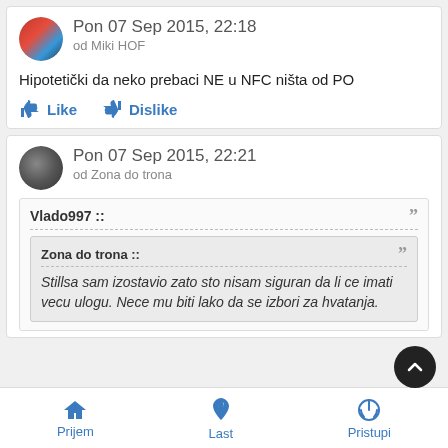Pon 07 Sep 2015, 22:18 od Miki HOF
Hipotetički da neko prebaci NE u NFC ništa od PO
Like  Dislike
Pon 07 Sep 2015, 22:21 od Zona do trona
Vlado997 ::
Zona do trona ::
Stillsa sam izostavio zato sto nisam siguran da li ce imati vecu ulogu. Nece mu biti lako da se izbori za hvatanja.
Prijem  Last  Pristupi